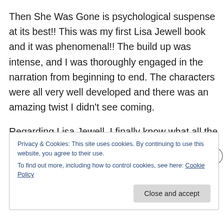Then She Was Gone is psychological suspense at its best!! This was my first Lisa Jewell book and it was phenomenal!! The build up was intense, and I was thoroughly engaged in the narration from beginning to end. The characters were all very well developed and there was an amazing twist I didn't see coming.
Regarding Lisa Jewell, I finally know what all the hoopla is about. She is an excellent writer!! I already started on another one of her books. I highly recommend Then She Was Gone.
Privacy & Cookies: This site uses cookies. By continuing to use this website, you agree to their use.
To find out more, including how to control cookies, see here: Cookie Policy